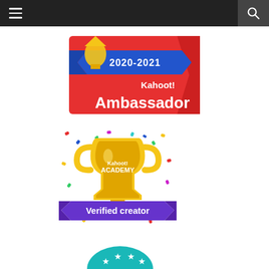Navigation header with menu and search icons
[Figure (illustration): Kahoot! Ambassador 2020-2021 badge: red banner with blue ribbon reading '2020-2021', white text 'Kahoot!' in playful font and large bold 'Ambassador' text, with gold trophy decorations]
[Figure (illustration): Kahoot! Academy Verified Creator badge: gold trophy cup with colorful confetti, purple ribbon at bottom reading 'Verified creator' in white bold text, 'Kahoot! ACADEMY' text on cup]
[Figure (illustration): Partial teal/green badge at bottom of page, partially cropped]